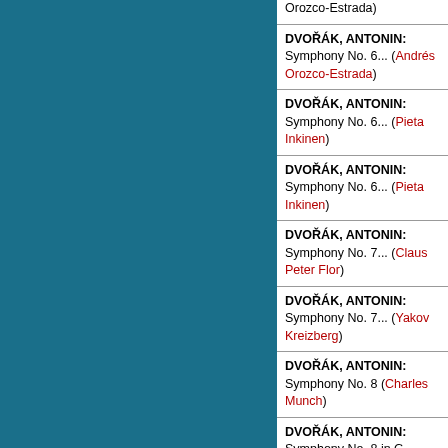DVOŘÁK, ANTONIN: Symphony No. 6... (Andrés Orozco-Estrada)
DVOŘÁK, ANTONIN: Symphony No. 6... (Andrés Orozco-Estrada)
DVOŘÁK, ANTONIN: Symphony No. 6... (Pieta Inkinen)
DVOŘÁK, ANTONIN: Symphony No. 6... (Pieta Inkinen)
DVOŘÁK, ANTONIN: Symphony No. 7... (Claus Peter Flor)
DVOŘÁK, ANTONIN: Symphony No. 7... (Yakov Kreizberg)
DVOŘÁK, ANTONIN: Symphony No. 8 (Charles Munch)
DVOŘÁK, ANTONIN: Symphony No. 8 in G... (Claus Peter Flor)
DVOŘÁK, ANTONIN: Symphony No. 8, op. 88...